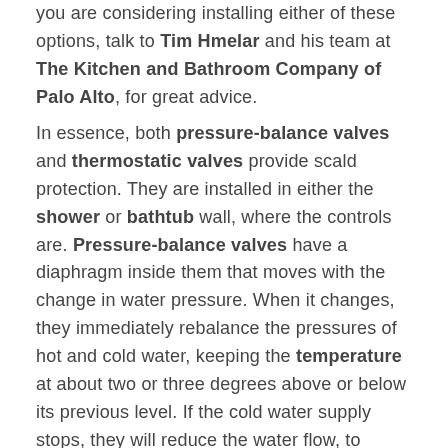you are considering installing either of these options, talk to Tim Hmelar and his team at The Kitchen and Bathroom Company of Palo Alto, for great advice.
In essence, both pressure-balance valves and thermostatic valves provide scald protection. They are installed in either the shower or bathtub wall, where the controls are. Pressure-balance valves have a diaphragm inside them that moves with the change in water pressure. When it changes, they immediately rebalance the pressures of hot and cold water, keeping the temperature at about two or three degrees above or below its previous level. If the cold water supply stops, they will reduce the water flow, to prevent burns from the hot water. These valves van have a problem with flows, because when the pressure of cold water dips, it reduces the pressure of hot water as well, to keep the temperature the same.